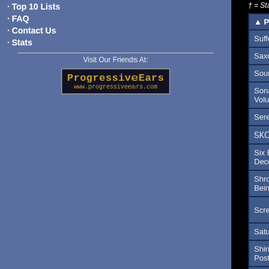· Top 10 Lists
· FAQ
· Contact Us
· Stats
Visit Our Friends At:
[Figure (logo): ProgressiveEars logo with www.progressiveears.com URL]
† = Staff Roundtable Review / ‡
| Product Title | Re... |
| --- | --- |
| Suffering Hour: The Cyclic Reckoning | Sed... |
| Saxon: Carpe Diem | Pete... |
| Sound of Ground: Sick | Jon ... |
| Sonata Arctica: Acoustic Adventures- Volume 1 | Chr... |
| Seremonia: Neonlusifer | Malco... |
| SKOLD: Dies Irae | Jon ... |
| Six Feet Under: Nightmares of the Decomposed | Sed... |
| Shrouded Unity: The Disadvantages of Being Aware  ‡ | Micha... |
| ScreaMachine: ScreaMachine | Ja... Ma... |
| Saturnalia Trio: It Was In May | Stev... |
| Shining Black - Boals & Thorsen: Postcards From The End Of The World | Malco... |
| Samurai of Prog, The: The White Snake - and Other Grimm Tales II | Jon ... |
| Spirits of Fire: Embrace the Unknown | Pe... |